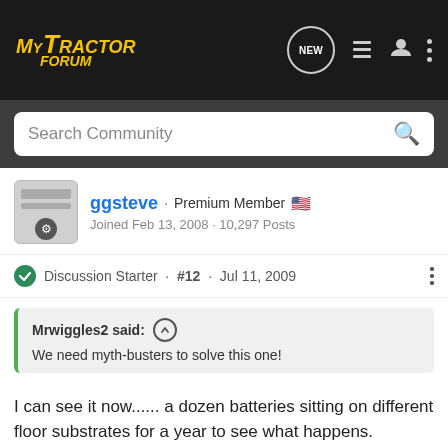MyTractor Forum
Search Community
ggsteve · Premium Member · Joined Feb 13, 2008 · 10,297 Posts
Discussion Starter · #12 · Jul 11, 2009
Mrwiggles2 said: We need myth-busters to solve this one!
I can see it now...... a dozen batteries sitting on different floor substrates for a year to see what happens. Compelling television!:ROF